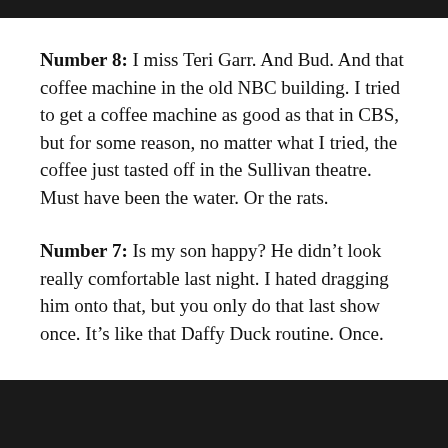Number 8: I miss Teri Garr. And Bud. And that coffee machine in the old NBC building. I tried to get a coffee machine as good as that in CBS, but for some reason, no matter what I tried, the coffee just tasted off in the Sullivan theatre. Must have been the water. Or the rats.
Number 7: Is my son happy? He didn't look really comfortable last night. I hated dragging him onto that, but you only do that last show once. It’s like that Daffy Duck routine. Once.